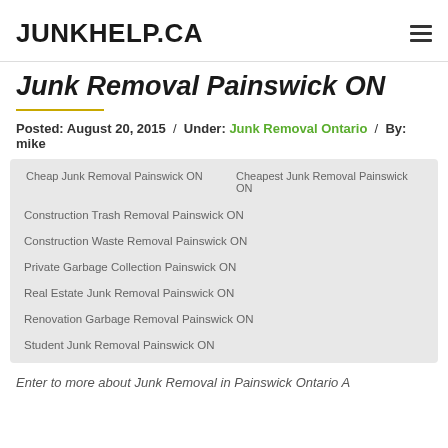JUNKHELP.CA
Junk Removal Painswick ON
Posted: August 20, 2015 / Under: Junk Removal Ontario / By: mike
Cheap Junk Removal Painswick ON
Cheapest Junk Removal Painswick ON
Construction Trash Removal Painswick ON
Construction Waste Removal Painswick ON
Private Garbage Collection Painswick ON
Real Estate Junk Removal Painswick ON
Renovation Garbage Removal Painswick ON
Student Junk Removal Painswick ON
Enter to more about Junk Removal in Painswick Ontario A